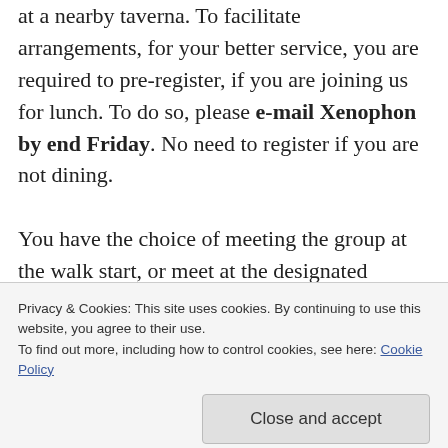at a nearby taverna. To facilitate arrangements, for your better service, you are required to pre-register, if you are joining us for lunch. To do so, please e-mail Xenophon by end Friday. No need to register if you are not dining.

You have the choice of meeting the group at the walk start, or meet at the designated meeting point in Nicosia. In either case, you need to carry copy of this set of instructions.  Meeting in Nicosia offers two important advantages: we drive in full cars, leaving some cars behind; thus,
Privacy & Cookies: This site uses cookies. By continuing to use this website, you agree to their use.
To find out more, including how to control cookies, see here: Cookie Policy
Close and accept
benefit of the group.